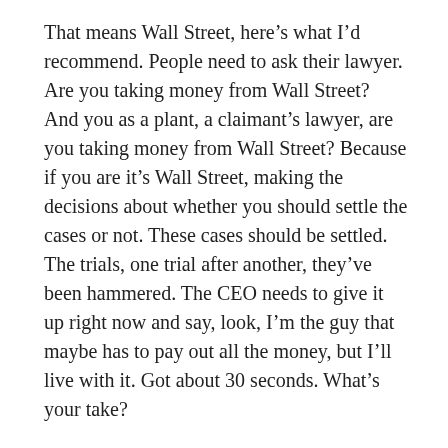That means Wall Street, here's what I'd recommend. People need to ask their lawyer. Are you taking money from Wall Street? And you as a plant, a claimant's lawyer, are you taking money from Wall Street? Because if you are it's Wall Street, making the decisions about whether you should settle the cases or not. These cases should be settled. The trials, one trial after another, they've been hammered. The CEO needs to give it up right now and say, look, I'm the guy that maybe has to pay out all the money, but I'll live with it. Got about 30 seconds. What's your take?
Stephen Luongo: Well right now with the litigation and there is the MDL up in New Jersey that has approximately 25,000 cases.